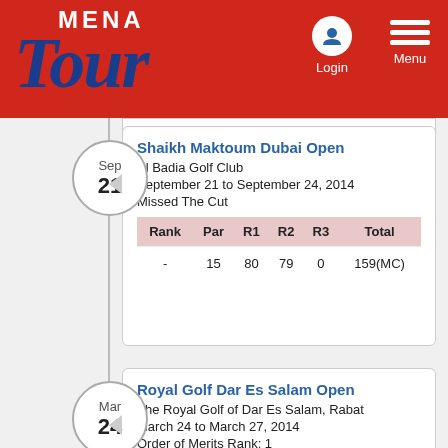[Figure (logo): MENA Tour logo with red background, white MENA text, dark blue italic Tour text, Login and Menu nav icons]
Shaikh Maktoum Dubai Open
Al Badia Golf Club
September 21 to September 24, 2014
Missed The Cut
| Rank | Par | R1 | R2 | R3 | Total |
| --- | --- | --- | --- | --- | --- |
| - | 15 | 80 | 79 | 0 | 159(MC) |
Royal Golf Dar Es Salam Open
The Royal Golf of Dar Es Salam, Rabat
March 24 to March 27, 2014
Order of Merits Rank: 1
Order of Merits Points: 23